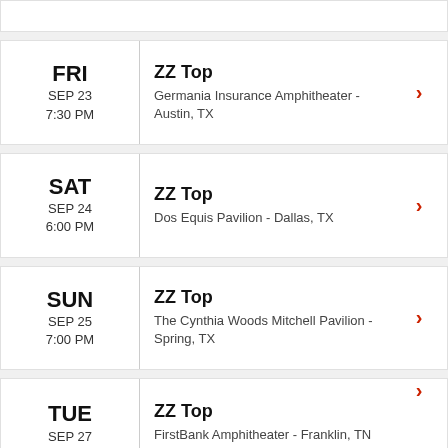FRI SEP 23 7:30 PM | ZZ Top | Germania Insurance Amphitheater - Austin, TX
SAT SEP 24 6:00 PM | ZZ Top | Dos Equis Pavilion - Dallas, TX
SUN SEP 25 7:00 PM | ZZ Top | The Cynthia Woods Mitchell Pavilion - Spring, TX
TUE SEP 27 7:30 PM | ZZ Top | FirstBank Amphitheater - Franklin, TN